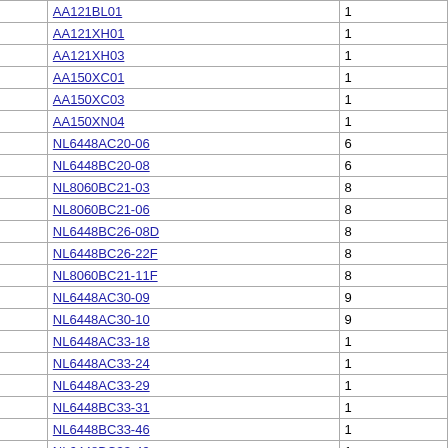| Manufacturer | Model |  |
| --- | --- | --- |
| MITSUBISHI | AA121BL01 | 1 |
| MITSUBISHI | AA121XH01 | 1 |
| MITSUBISHI | AA121XH03 | 1 |
| MITSUBISHI | AA150XC01 | 1 |
| MITSUBISHI | AA150XC03 | 1 |
| MITSUBISHI | AA150XN04 | 1 |
| NEC | NL6448AC20-06 | 6 |
| NEC | NL6448BC20-08 | 6 |
| NEC | NL8060BC21-03 | 8 |
| NEC | NL8060BC21-06 | 8 |
| NEC | NL6448BC26-08D | 8 |
| NEC | NL6448BC26-22F | 8 |
| NEC | NL8060BC21-11F | 8 |
| NEC | NL6448AC30-09 | 9 |
| NEC | NL6448AC30-10 | 9 |
| NEC | NL6448AC33-18 | 1 |
| NEC | NL6448AC33-24 | 1 |
| NEC | NL6448AC33-29 | 1 |
| NEC | NL6448BC33-31 | 1 |
| NEC | NL6448BC33-46 | 1 |
| NEC | NL6448BC33-49 | 1 |
| NEC | NL6448BC33-54 | 1 |
| NEC | NL6448BC33-59 | 1 |
| NEC | NL6448BC33-64 | 1 |